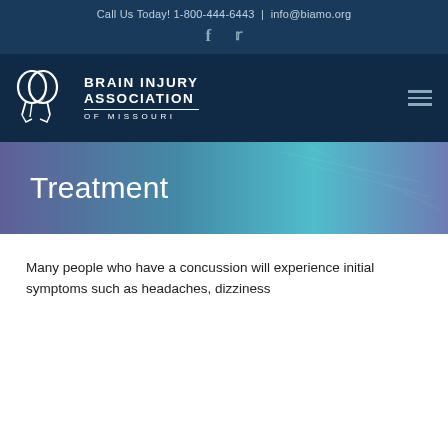Call Us Today! 1-800-444-6443  |  info@biamo.org
[Figure (logo): Brain Injury Association of Missouri logo with overlapping circle head silhouettes icon and organization name text]
Treatment
Many people who have a concussion will experience initial symptoms such as headaches, dizziness